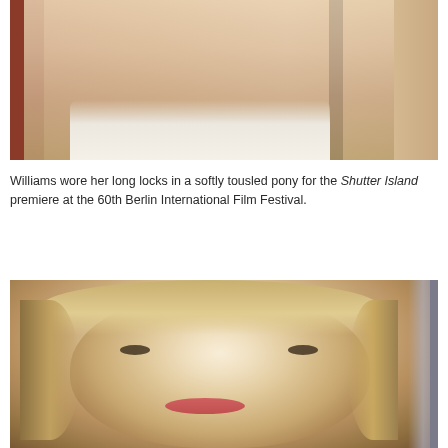[Figure (photo): Cropped photo of a woman in a white outfit with a black strap visible, red background, showing shoulders and lower neck area only — top of image is cut off]
Williams wore her long locks in a softly tousled pony for the Shutter Island premiere at the 60th Berlin International Film Festival.
[Figure (photo): Close-up portrait photo of a blonde woman with short bob haircut and side-swept bangs, wearing eye makeup, looking at camera with a slight smile]